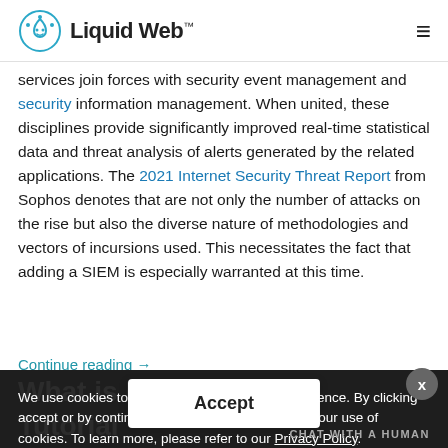Liquid Web™
services join forces with security event management and security information management. When united, these disciplines provide significantly improved real-time statistical data and threat analysis of alerts generated by the related applications. The 2021 Internet Security Threat Report from Sophos denotes that are not only the number of attacks on the rise but also the diverse nature of methodologies and vectors of incursions used. This necessitates the fact that adding a SIEM is especially warranted at this time.
Continue reading →
We use cookies to offer an improved online experience. By clicking accept or by continuing to browse, you consent to our use of cookies. To learn more, please refer to our Privacy Policy.
What is Blockchain? A Tutorial